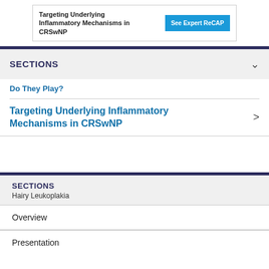[Figure (other): Advertisement banner: 'Targeting Underlying Inflammatory Mechanisms in CRSwNP' with a 'See Expert ReCAP' button]
SECTIONS
Do They Play?
Targeting Underlying Inflammatory Mechanisms in CRSwNP
SECTIONS
Hairy Leukoplakia
Overview
Presentation